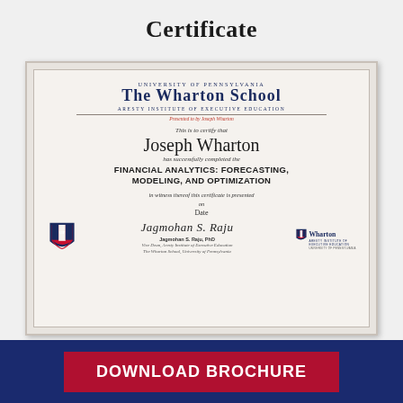Certificate
[Figure (illustration): A framed Wharton School certificate awarded to Joseph Wharton for completing FINANCIAL ANALYTICS: FORECASTING, MODELING, AND OPTIMIZATION. Contains University of Pennsylvania / The Wharton School / Aresty Institute of Executive Education header, recipient name, course name, date line, signature, Penn shield logo, and Wharton logo.]
DOWNLOAD BROCHURE